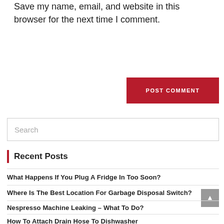Save my name, email, and website in this browser for the next time I comment.
POST COMMENT
Search
Recent Posts
What Happens If You Plug A Fridge In Too Soon?
Where Is The Best Location For Garbage Disposal Switch?
Nespresso Machine Leaking – What To Do?
How To Attach Drain Hose To Dishwasher
How To Remove An Old KitchenAid Dishwasher